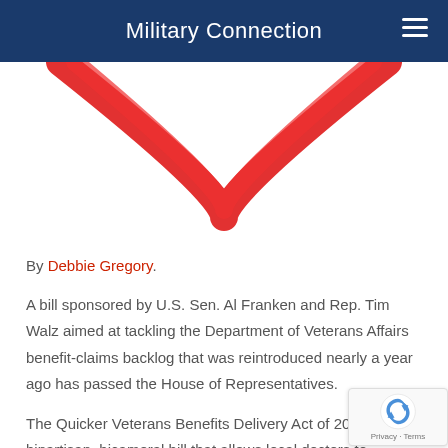Military Connection
[Figure (illustration): Partial view of a red heart outline shape on white background, showing the bottom V portion of the heart]
By Debbie Gregory.
A bill sponsored by U.S. Sen. Al Franken and Rep. Tim Walz aimed at tackling the Department of Veterans Affairs benefit-claims backlog that was reintroduced nearly a year ago has passed the House of Representatives.
The Quicker Veterans Benefits Delivery Act of 2015 is a bipartisan, bicameral bill that allows local doctors to conduct disability medical examinations for veterans seeking benefits from the VA for the first